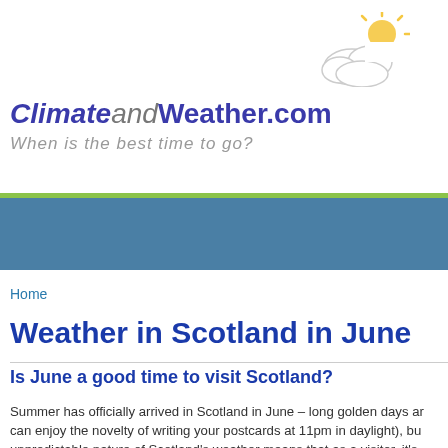[Figure (illustration): Partly cloudy sun icon — a white cloud with a yellow sun peeking from the top-right]
ClimateandWeather.com
When is the best time to go?
Home
Weather in Scotland in June
Is June a good time to visit Scotland?
Summer has officially arrived in Scotland in June – long golden days ar... can enjoy the novelty of writing your postcards at 11pm in daylight), bu... unpredictable nature of Scotland's weather means that as a visitor, it's ... June is, according to averages, a dry month in Scotland, but be prepar...